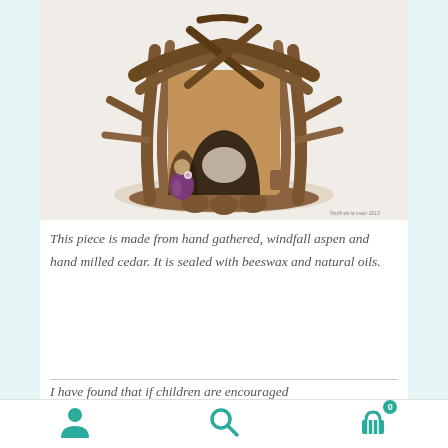[Figure (photo): A handcrafted wooden fairy/gnome house made from driftwood and natural wood branches, with a small purple felted figure and miniature furniture in front. The house has a rustic roof made of crossed sticks and an arched entrance.]
This piece is made from hand gathered, windfall aspen and hand milled cedar. It is sealed with beeswax and natural oils.
I have found that if children are encouraged